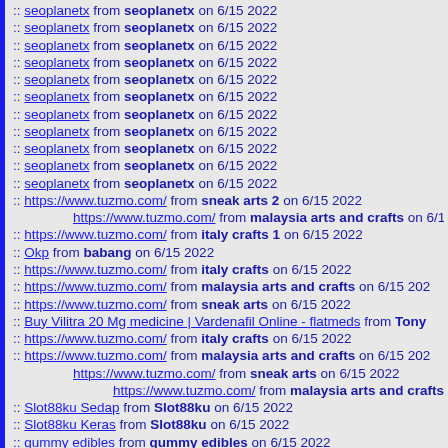:: seoplanetx from seoplanetx on 6/15 2022
:: seoplanetx from seoplanetx on 6/15 2022
:: seoplanetx from seoplanetx on 6/15 2022
:: seoplanetx from seoplanetx on 6/15 2022
:: seoplanetx from seoplanetx on 6/15 2022
:: seoplanetx from seoplanetx on 6/15 2022
:: seoplanetx from seoplanetx on 6/15 2022
:: seoplanetx from seoplanetx on 6/15 2022
:: seoplanetx from seoplanetx on 6/15 2022
:: seoplanetx from seoplanetx on 6/15 2022
:: seoplanetx from seoplanetx on 6/15 2022
:: https://www.tuzmo.com/ from sneak arts 2 on 6/15 2022
https://www.tuzmo.com/ from malaysia arts and crafts on 6/15
:: https://www.tuzmo.com/ from italy crafts 1 on 6/15 2022
:: Okp from babang on 6/15 2022
:: https://www.tuzmo.com/ from italy crafts on 6/15 2022
:: https://www.tuzmo.com/ from malaysia arts and crafts on 6/15 202
:: https://www.tuzmo.com/ from sneak arts on 6/15 2022
:: Buy Vilitra 20 Mg medicine | Vardenafil Online - flatmeds from Tony
:: https://www.tuzmo.com/ from italy crafts on 6/15 2022
:: https://www.tuzmo.com/ from malaysia arts and crafts on 6/15 202
https://www.tuzmo.com/ from sneak arts on 6/15 2022
https://www.tuzmo.com/ from malaysia arts and crafts o
:: Slot88ku Sedap from Slot88ku on 6/15 2022
:: Slot88ku Keras from Slot88ku on 6/15 2022
:: gummy edibles from gummy edibles on 6/15 2022
:: https://cannabismo.org/science-behind-wake-bake/ from wake and
:: Visit my blog ^^ from popol on 6/14 2022
:: drama from Harphoul Mohini on 6/14 2022
:: buy quality medicine online from Oscar Kelvin on 6/14 2022